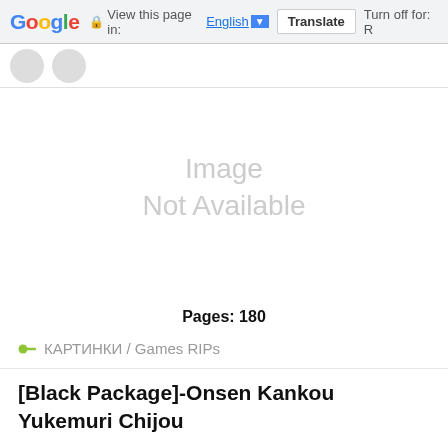Google  View this page in: English ▼  Translate  Turn off for: R
[Figure (screenshot): Image Not Available placeholder in light gray text]
Pages: 180
КАРТИНКИ / Games RIPs
[Figure (other): Green button with three dots and five empty stars rating row]
Banderas3dx   6 052   0
[Black Package]-Onsen Kankou Yukemuri Chijou